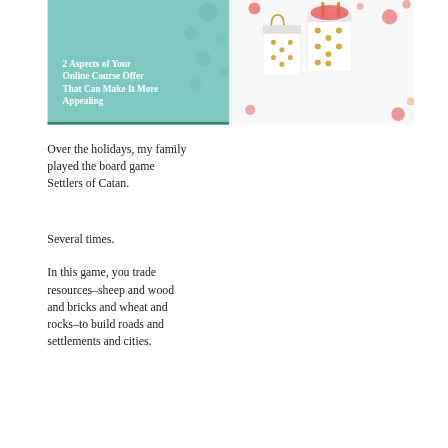[Figure (illustration): Blog post banner image with teal background on left showing bold white text title '2 Aspects of Your Online Course Offer That Can Make It More Appealing', and decorative polka dot gift bags on white background on the right side.]
Over the holidays, my family played the board game Settlers of Catan.
Several times.
In this game, you trade resources–sheep and wood and bricks and wheat and rocks–to build roads and settlements and cities.